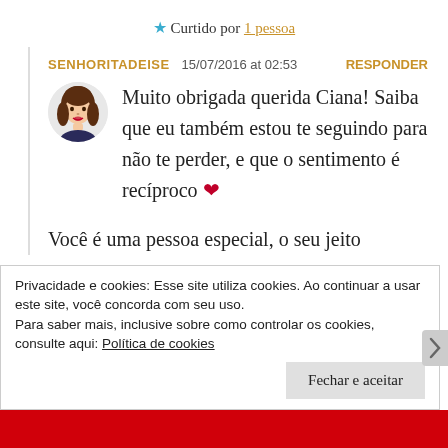★ Curtido por 1 pessoa
SENHORITADEISE   15/07/2016 at 02:53   RESPONDER
Muito obrigada querida Ciana! Saiba que eu também estou te seguindo para não te perder, e que o sentimento é recíproco ❤
Você é uma pessoa especial, o seu jeito
Privacidade e cookies: Esse site utiliza cookies. Ao continuar a usar este site, você concorda com seu uso.
Para saber mais, inclusive sobre como controlar os cookies, consulte aqui: Política de cookies
Fechar e aceitar